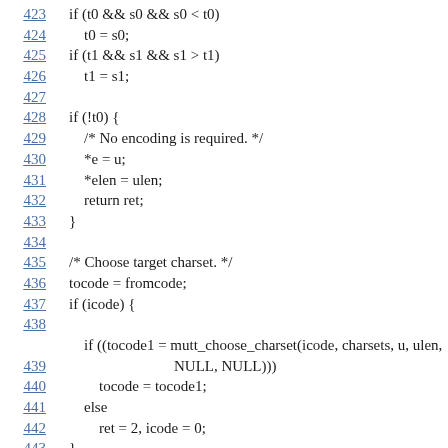Code listing lines 423–446 showing C source code for charset encoding logic.